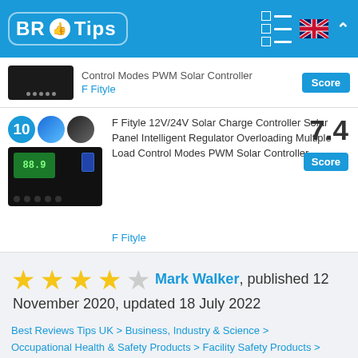BR Tips
[Figure (screenshot): Partial product listing: Control Modes PWM Solar Controller by F Fityle with Score badge]
[Figure (photo): F Fityle 12V/24V Solar Charge Controller product image with rank badge 10 and thumbnail images]
F Fityle 12V/24V Solar Charge Controller Solar Panel Intelligent Regulator Overloading Multiple Load Control Modes PWM Solar Controller
F Fityle
7.4 Score
Mark Walker, published 12 November 2020, updated 18 July 2022
Best Reviews Tips UK > Business, Industry & Science > Occupational Health & Safety Products > Facility Safety Products > Warning Lights > F Fityle Warning Lights
Trend F Fityle Warning Lights